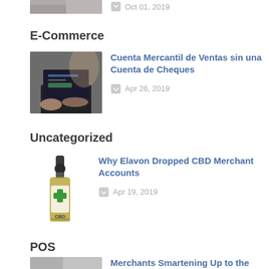[Figure (photo): Cropped thumbnail of a photo at top of page]
Oct 01, 2019
E-Commerce
[Figure (photo): Photo of person typing on a laptop computer]
Cuenta Mercantil de Ventas sin una Cuenta de Cheques
Apr 26, 2019
Uncategorized
[Figure (photo): Photo of a CBD oil dropper bottle with green cross label]
Why Elavon Dropped CBD Merchant Accounts
Apr 19, 2019
POS
[Figure (photo): Partial thumbnail of a photo at bottom of page]
Merchants Smartening Up to the Value of Smart POS Terminals